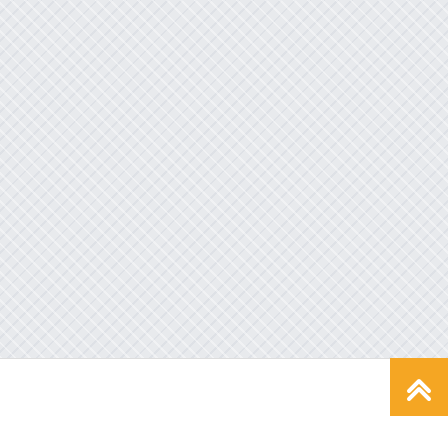[Figure (photo): Large light gray textured background area, appears to be a product image placeholder with a crosshatch/diamond pattern texture in light gray and white.]
Seller Information: david68047167 (8994)
Positive Feedback: 99.99%